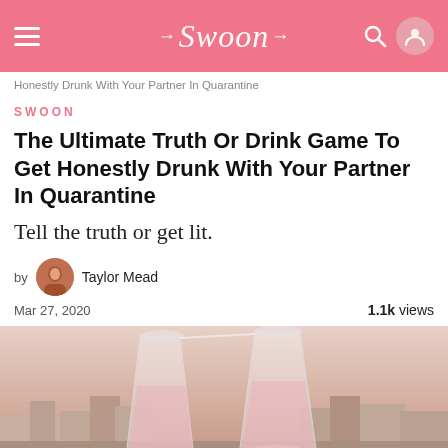Swoon
Honestly Drunk With Your Partner In Quarantine
SWOON
The Ultimate Truth Or Drink Game To Get Honestly Drunk With Your Partner In Quarantine
Tell the truth or get lit.
by Taylor Mead
Mar 27, 2020
1.1k views
[Figure (photo): Two people clinking glasses of rosé wine over a city skyline at dusk]